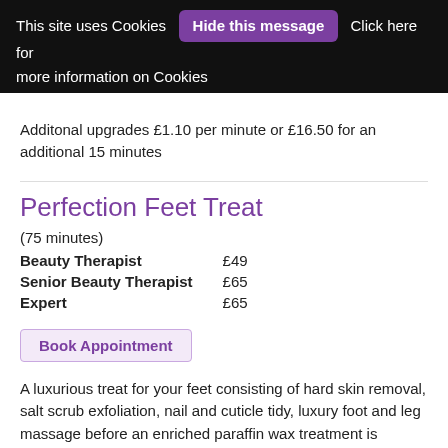This site uses Cookies  Hide this message  Click here for more information on Cookies
Additonal upgrades £1.10 per minute or £16.50 for an additional 15 minutes
Perfection Feet Treat
(75 minutes)
|  |  |
| --- | --- |
| Beauty Therapist | £49 |
| Senior Beauty Therapist | £65 |
| Expert | £65 |
Book Appointment
A luxurious treat for your feet consisting of hard skin removal, salt scrub exfoliation, nail and cuticle tidy, luxury foot and leg massage before an enriched paraffin wax treatment is applied.